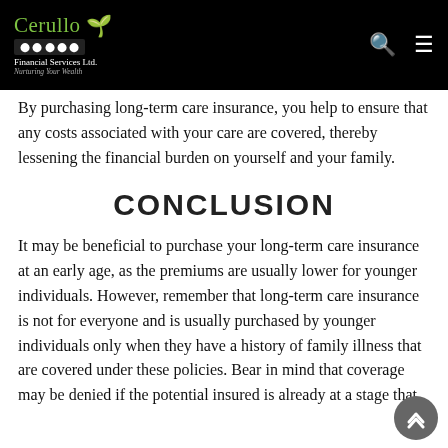Cerullo Financial Services Ltd. — Nurturing Your Wealth
By purchasing long-term care insurance, you help to ensure that any costs associated with your care are covered, thereby lessening the financial burden on yourself and your family.
CONCLUSION
It may be beneficial to purchase your long-term care insurance at an early age, as the premiums are usually lower for younger individuals. However, remember that long-term care insurance is not for everyone and is usually purchased by younger individuals only when they have a history of family illness that are covered under these policies. Bear in mind that coverage may be denied if the potential insured is already at a stage that